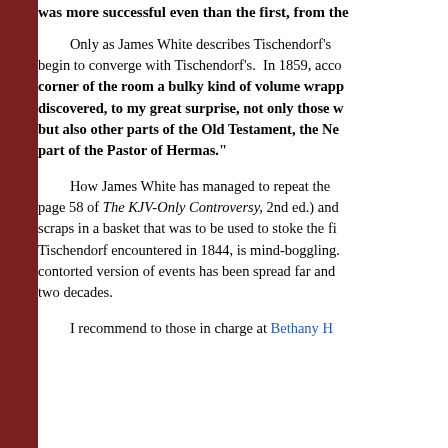was more successful even than the first, from the
Only as James White describes Tischendorf's begin to converge with Tischendorf's. In 1859, acco corner of the room a bulky kind of volume wrapp discovered, to my great surprise, not only those w but also other parts of the Old Testament, the Ne part of the Pastor of Hermas."
How James White has managed to repeat the page 58 of The KJV-Only Controversy, 2nd ed.) and scraps in a basket that was to be used to stoke the fi Tischendorf encountered in 1844, is mind-boggling. contorted version of events has been spread far and two decades.
I recommend to those in charge at Bethany H